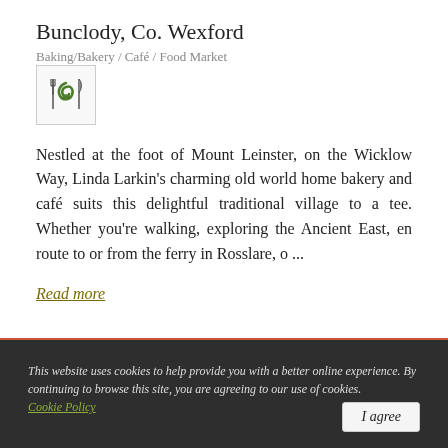Bunclody, Co. Wexford
Baking/Bakery / Café / Food Market
[Figure (logo): Small square icon with fork, green leaf/swirl, and knife on a light background]
Nestled at the foot of Mount Leinster, on the Wicklow Way, Linda Larkin's charming old world home bakery and café suits this delightful traditional village to a tee. Whether you're walking, exploring the Ancient East, en route to or from the ferry in Rosslare, o ...
Read more
This website uses cookies to help provide you with a better online experience. By continuing to browse this site, you are agreeing to our use of cookies. Cookie Policy